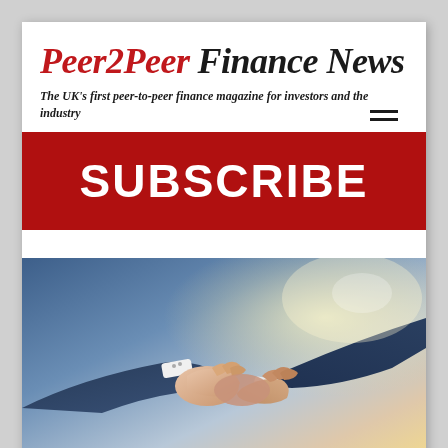Peer2Peer Finance News
The UK's first peer-to-peer finance magazine for investors and the industry
[Figure (other): Red banner with white bold text reading SUBSCRIBE]
[Figure (photo): Two businesspeople shaking hands, close-up on handshake, blue-toned with warm backlight]